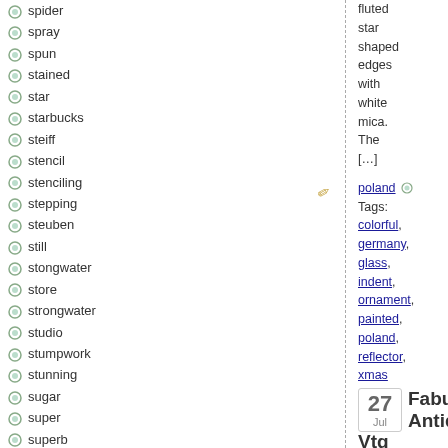spider
spray
spun
stained
star
starbucks
steiff
stencil
stenciling
stepping
steuben
still
stongwater
store
strongwater
studio
stumpwork
stunning
sugar
super
superb
susan
swarovski
tall
taron
fluted star shaped edges with white mica. The [...]
poland Tags: colorful, germany, glass, indent, ornament, painted, poland, reflector, xmas
27 Jul Fabulous Antique Vtg Poland Indents...